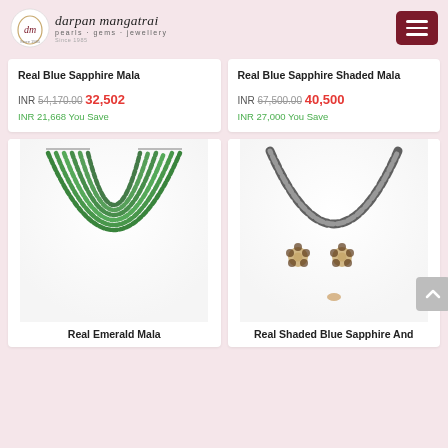darpan mangatrai – pearls · gems · jewellery
Real Blue Sapphire Mala
INR 54,170.00 32,502
INR 21,668 You Save
Real Blue Sapphire Shaded Mala
INR 67,500.00 40,500
INR 27,000 You Save
[Figure (photo): Multi-strand green emerald bead necklace]
Real Emerald Mala
[Figure (photo): Black and silver necklace with floral stud earrings set]
Real Shaded Blue Sapphire And